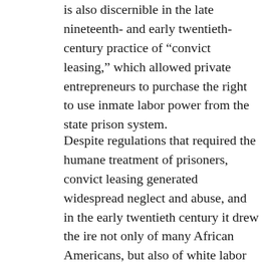is also discernible in the late nineteenth- and early twentieth-century practice of “convict leasing,” which allowed private entrepreneurs to purchase the right to use inmate labor power from the state prison system.
Despite regulations that required the humane treatment of prisoners, convict leasing generated widespread neglect and abuse, and in the early twentieth century it drew the ire not only of many African Americans, but also of white labor leaders, radical farm organizers, and progressive middle-class reformers. This last group launched a concerted campaign to move the state prison system away from punitive revenue-bearing production and toward newer, ostensibly more benevolent forms of rehabilitation. In the second decade of the twentieth century, modernizers in the prison administration implemented a variety of reform measures, including better food and medical